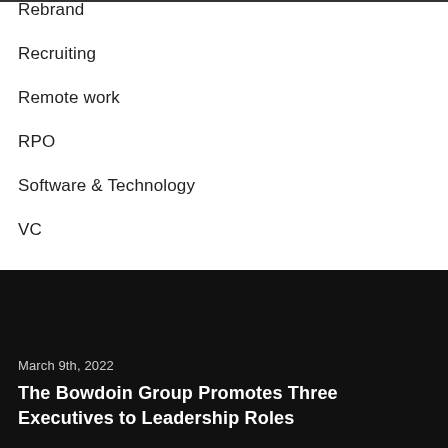Rebrand
Recruiting
Remote work
RPO
Software & Technology
VC
March 9th, 2022
The Bowdoin Group Promotes Three Executives to Leadership Roles